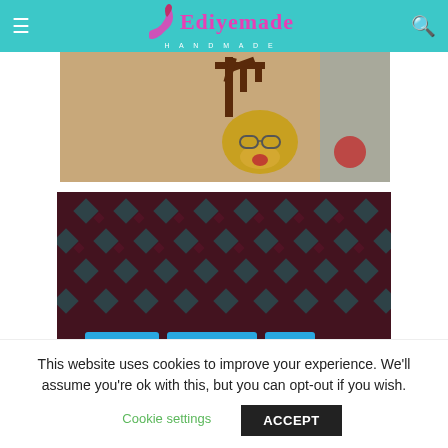Ediyemade Handmade
[Figure (photo): Photo of person holding a reindeer craft/decoration with antlers and glasses against a sparkly background]
[Figure (photo): Dark red and teal knit/woven pattern textile with category tags: DARK SKIN, INFORMATION, LIFE and article title 'The Diamonds Of Congo', dated December 25, 2019]
The Diamonds Of Congo
December 25, 2019
This website uses cookies to improve your experience. We'll assume you're ok with this, but you can opt-out if you wish.
Cookie settings  ACCEPT